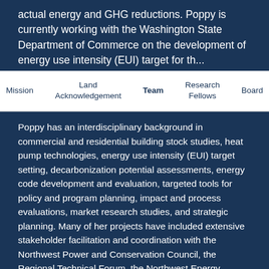actual energy and GHG reductions. Poppy is currently working with the Washington State Department of Commerce on the development of energy use intensity (EUI) target for th...
Mission  Land Acknowledgement  Team  Research Fellows  Board
Poppy has an interdisciplinary background in commercial and residential building stock studies, heat pump technologies, energy use intensity (EUI) target setting, decarbonization potential assessments, energy code development and evaluation, targeted tools for policy and program planning, impact and process evaluations, market research studies, and strategic planning. Many of her projects have included extensive stakeholder facilitation and coordination with the Northwest Power and Conservation Council, the Regional Technical Forum, the Northwest Energy